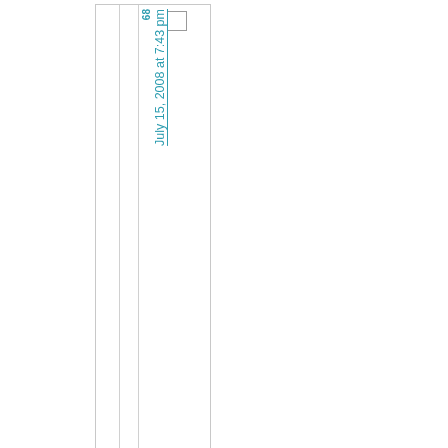The Trip to NYC
68
July 15, 2008 at 7:43 pm
Started
Ne
11
Ju